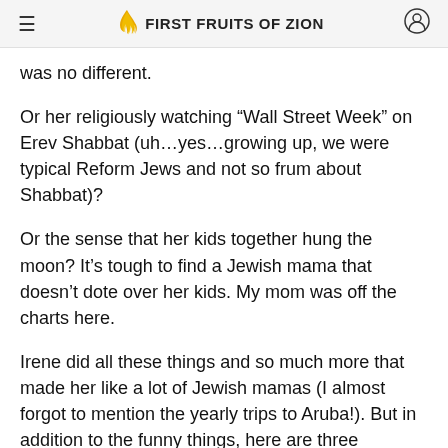FIRST FRUITS OF ZION
was no different.
Or her religiously watching “Wall Street Week” on Erev Shabbat (uh…yes…growing up, we were typical Reform Jews and not so frum about Shabbat)?
Or the sense that her kids together hung the moon? It’s tough to find a Jewish mama that doesn’t dote over her kids. My mom was off the charts here.
Irene did all these things and so much more that made her like a lot of Jewish mamas (I almost forgot to mention the yearly trips to Aruba!). But in addition to the funny things, here are three substantial ways that my